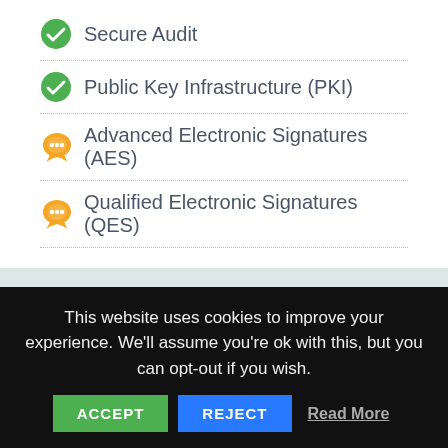Secure Audit
Public Key Infrastructure (PKI)
Advanced Electronic Signatures (AES)
Qualified Electronic Signatures (QES)
How it works
[Figure (other): Four tab buttons: Sign (active/green), Send, Manage, Learn]
This website uses cookies to improve your experience. We'll assume you're ok with this, but you can opt-out if you wish.
ACCEPT   REJECT   Read More